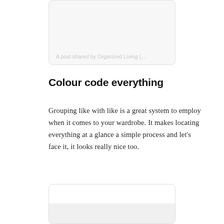[Figure (screenshot): Partial social media post card with light gray background and caption text 'A post shared by Organized Living (…']
Colour code everything
Grouping like with like is a great system to employ when it comes to your wardrobe. It makes locating everything at a glance a simple process and let's face it, it looks really nice too.
[Figure (screenshot): Partial social media post card with white background and gray inner panel at the bottom, content cropped]